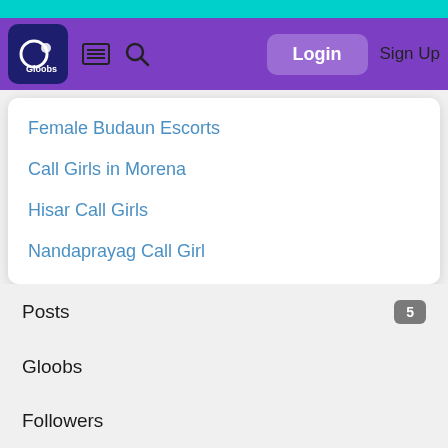Gloobs navigation bar with Login and Sign Up
Female Budaun Escorts
Call Girls in Morena
Hisar Call Girls
Nandaprayag Call Girl
Posts 5
Gloobs
Followers
Following
Contact Us